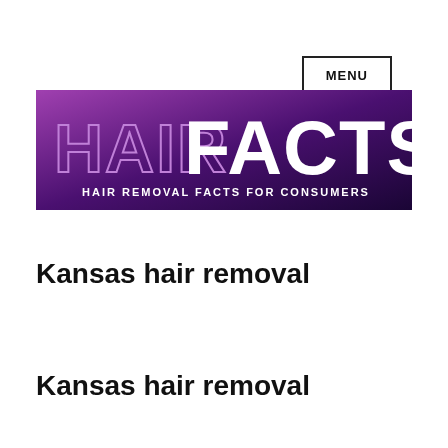MENU
[Figure (logo): HairFacts logo - purple gradient background with 'HAIR' in light purple outline text and 'FACTS' in large white bold text, subtitle 'HAIR REMOVAL FACTS FOR CONSUMERS' in white small caps]
Kansas hair removal
Kansas hair removal